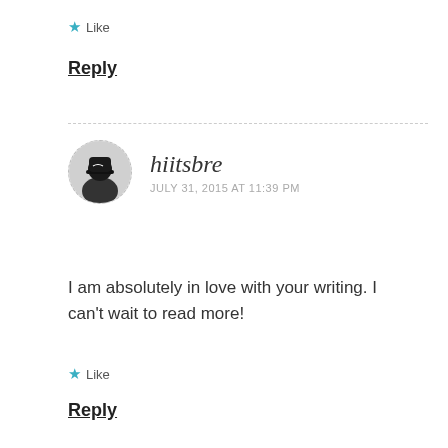★ Like
Reply
hiitsbre
JULY 31, 2015 AT 11:39 PM
I am absolutely in love with your writing. I can't wait to read more!
★ Like
Reply